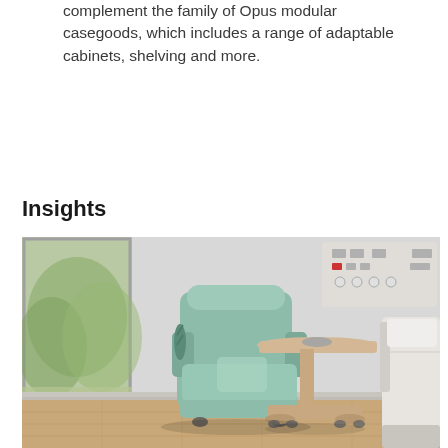The Opus Overbed Table is designed to complement the family of Opus modular casegoods, which includes a range of adaptable cabinets, shelving and more.
Insights
[Figure (photo): Hospital room scene showing a mint-green upholstered recliner chair with a light wood Opus Overbed Table on casters positioned next to it, with a hospital bed partially visible on the right, a headwall panel with medical controls in the background, and a large window with outdoor greenery visible on the left. The flooring is wood-tone.]